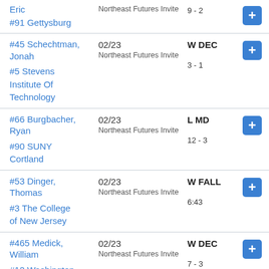Eric / #91 Gettysburg | Northeast Futures Invite | 9 - 2
#45 Schechtman, Jonah / #5 Stevens Institute Of Technology | 02/23 | W DEC | Northeast Futures Invite | 3 - 1
#66 Burgbacher, Ryan / #90 SUNY Cortland | 02/23 | L MD | Northeast Futures Invite | 12 - 3
#53 Dinger, Thomas / #3 The College of New Jersey | 02/23 | W FALL | Northeast Futures Invite | 6:43
#465 Medick, William / #12 Washington | 02/23 | W DEC | Northeast Futures Invite | 7 - 3